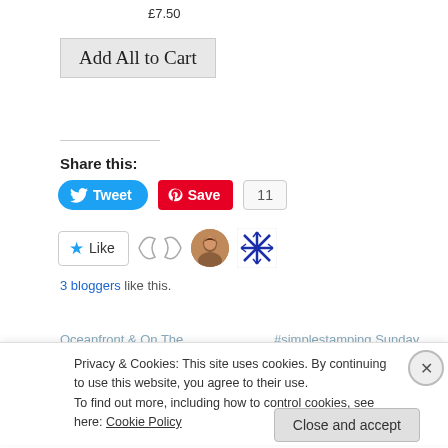£7.50
Add All to Cart
Share this:
[Figure (screenshot): Tweet button (blue rounded), Pinterest Save button (red), and count badge showing 11]
[Figure (screenshot): Like button with star icon, two avatar images of bloggers]
3 bloggers like this.
Oceanfront & On The
#simplestamping Sunday
Privacy & Cookies: This site uses cookies. By continuing to use this website, you agree to their use.
To find out more, including how to control cookies, see here: Cookie Policy
Close and accept